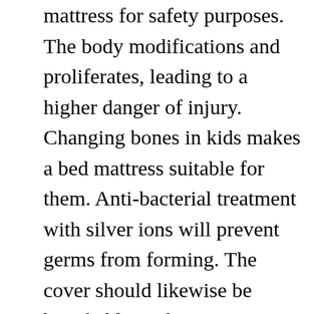mattress for safety purposes. The body modifications and proliferates, leading to a higher danger of injury. Changing bones in kids makes a bed mattress suitable for them. Anti-bacterial treatment with silver ions will prevent germs from forming. The cover should likewise be breathable so that air can distribute through the material. It is also essential to buy a bed mattress with antimicrobial defense for preventing harmful germs.
The lifespan of a mattress refers to the time it takes for its original comfort and support to break down. This review focuses on how